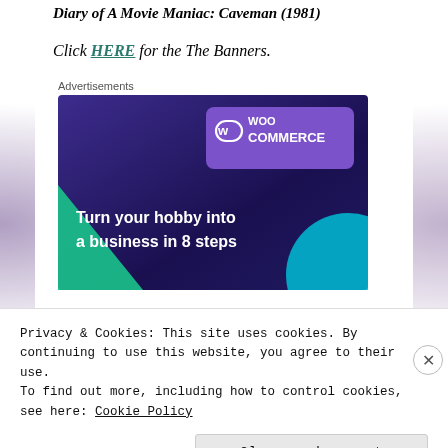Diary of A Movie Maniac: Caveman (1981)
Click HERE for the The Banners.
Advertisements
[Figure (infographic): WooCommerce advertisement banner: purple/dark navy background with WooCommerce logo, green triangle shape, cyan circle, and text 'Turn your hobby into a business in 8 steps']
Privacy & Cookies: This site uses cookies. By continuing to use this website, you agree to their use.
To find out more, including how to control cookies, see here: Cookie Policy
Close and accept